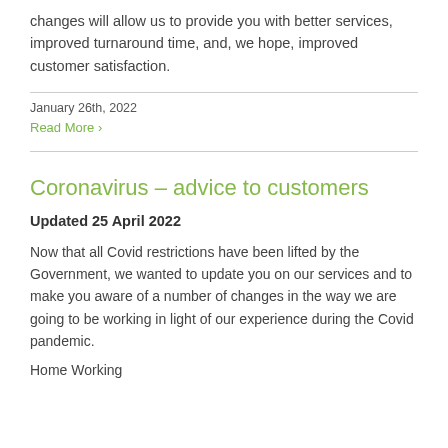changes will allow us to provide you with better services, improved turnaround time, and, we hope, improved customer satisfaction.
January 26th, 2022
Read More ›
Coronavirus – advice to customers
Updated 25 April 2022
Now that all Covid restrictions have been lifted by the Government, we wanted to update you on our services and to make you aware of a number of changes in the way we are going to be working in light of our experience during the Covid pandemic.
Home Working